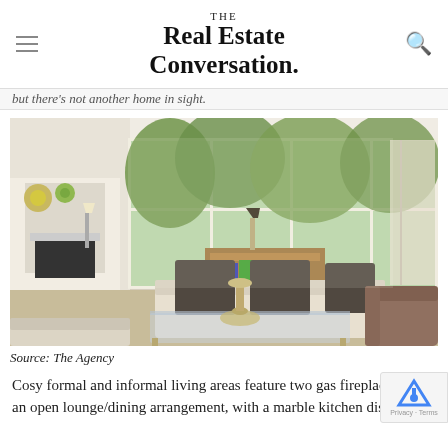THE Real Estate Conversation.
but there's not another home in sight.
[Figure (photo): Interior photo of a bright, formal living room with large windows overlooking greenery, featuring sofas with dark cushions, a glass coffee table, a fireplace, and a brown armchair.]
Source: The Agency
Cosy formal and informal living areas feature two gas fireplaces and an open lounge/dining arrangement, with a marble kitchen displaying